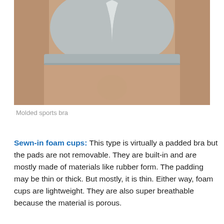[Figure (photo): A person wearing a gray molded sports bra with white center panel detail, showing torso from chest to waist area.]
Molded sports bra
Sewn-in foam cups: This type is virtually a padded bra but the pads are not removable. They are built-in and are mostly made of materials like rubber form. The padding may be thin or thick. But mostly, it is thin. Either way, foam cups are lightweight. They are also super breathable because the material is porous.